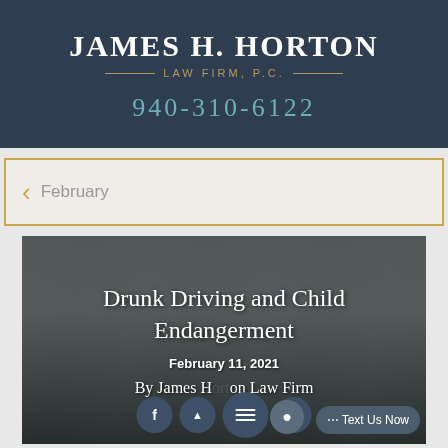JAMES H. HORTON LAW FIRM, P.C.
940-310-6122
February
[Figure (photo): Blog card with photo of child in car seat, overlaid with article title 'Drunk Driving and Child Endangerment', date 'February 11, 2021', and author 'By James Horton Law Firm'. Social media icons and 'Text Us Now' button at bottom.]